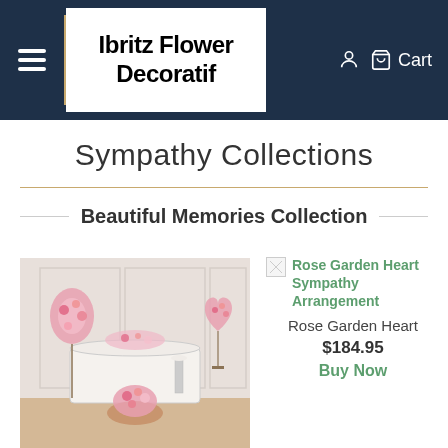Ibritz Flower Decoratif  Cart
Sympathy Collections
Beautiful Memories Collection
[Figure (photo): Sympathy flower arrangement set including a standing spray, casket spray, heart wreath, and basket arrangement in pink tones displayed in a light-colored room setting]
Rose Garden Heart Sympathy Arrangement
Rose Garden Heart
$184.95
Buy Now